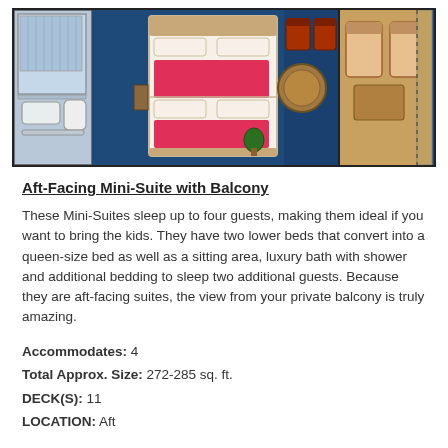[Figure (engineering-diagram): Top-down floor plan of an Aft-Facing Mini-Suite with Balcony showing bathroom on left, main bedroom with two beds in center, wardrobe, sitting area with chairs and round table, and balcony on right with furniture]
Aft-Facing Mini-Suite with Balcony
These Mini-Suites sleep up to four guests, making them ideal if you want to bring the kids. They have two lower beds that convert into a queen-size bed as well as a sitting area, luxury bath with shower and additional bedding to sleep two additional guests. Because they are aft-facing suites, the view from your private balcony is truly amazing.
Accommodates: 4
Total Approx. Size: 272-285 sq. ft.
DECK(S): 11
LOCATION: Aft